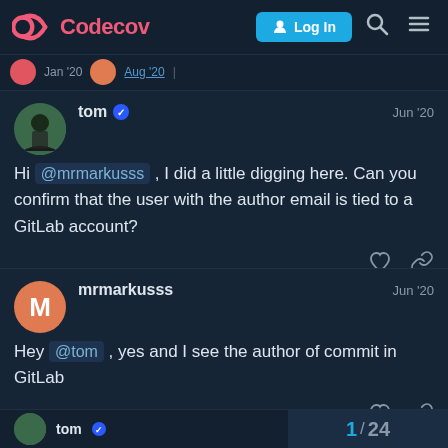Codecov — Log In
tom · Jun '20 · Hi @mrmarkusss, I did a little digging here. Can you confirm that the user with the author email is tied to a GitLab account?
mrmarkusss · Jun '20 · Hey @tom, yes and I see the author of commit in GitLab
1 / 24